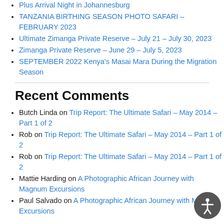Plus Arrival Night in Johannesburg
TANZANIA BIRTHING SEASON PHOTO SAFARI – FEBRUARY 2023
Ultimate Zimanga Private Reserve – July 21 – July 30, 2023
Zimanga Private Reserve – June 29 – July 5, 2023
SEPTEMBER 2022 Kenya's Masai Mara During the Migration Season
Recent Comments
Butch Linda on Trip Report: The Ultimate Safari – May 2014 – Part 1 of 2
Rob on Trip Report: The Ultimate Safari – May 2014 – Part 1 of 2
Rob on Trip Report: The Ultimate Safari – May 2014 – Part 1 of 2
Mattie Harding on A Photographic African Journey with Magnum Excursions
Paul Salvado on A Photographic African Journey with Magnum Excursions